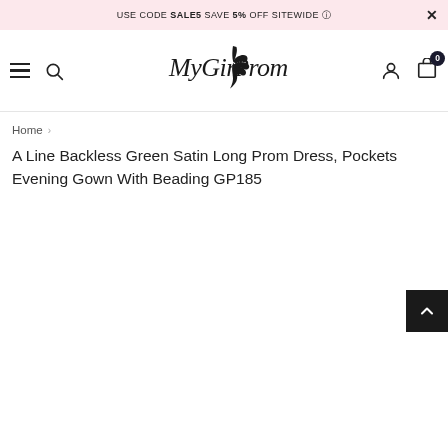USE CODE SALE5 SAVE 5% OFF SITEWIDE
[Figure (logo): MyGirlProm script logo with peacock feather silhouette]
Home > A Line Backless Green Satin Long Prom Dress, Pockets Evening Gown With Beading GP185
A Line Backless Green Satin Long Prom Dress, Pockets Evening Gown With Beading GP185